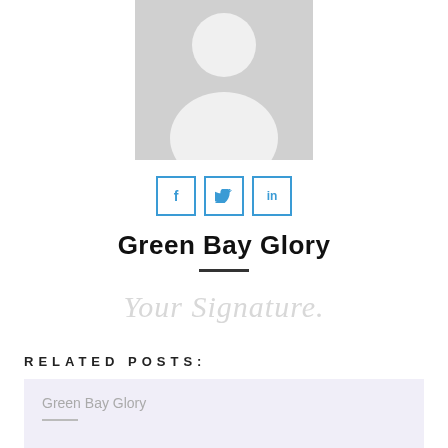[Figure (illustration): Generic user avatar placeholder: grey rectangle with white silhouette of a person (circle head, rounded torso shape)]
[Figure (infographic): Three social media icon buttons with blue borders: Facebook (f), Twitter (bird), LinkedIn (in)]
Green Bay Glory
[Figure (illustration): Handwritten cursive signature placeholder text: 'Your Signature.' in light grey]
Related Posts:
Green Bay Glory